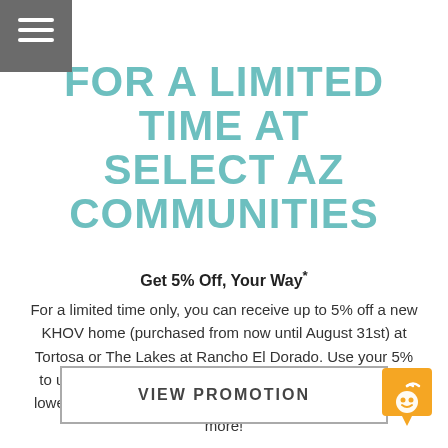FOR A LIMITED TIME AT SELECT AZ COMMUNITIES
Get 5% Off, Your Way*
For a limited time only, you can receive up to 5% off a new KHOV home (purchased from now until August 31st) at Tortosa or The Lakes at Rancho El Dorado. Use your 5% to upgrade available options, reduce your closing costs, lower your interest rate, secure a long-term rate lock, and more!
VIEW PROMOTION